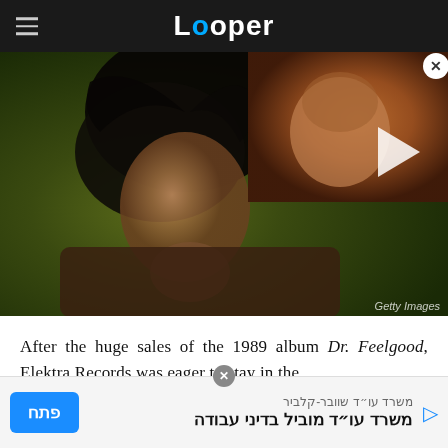Looper
[Figure (photo): Rock performer singing into a microphone wearing leather jacket, with a smaller video thumbnail overlay showing another performer on stage. Getty Images watermark in bottom right. Close button in top right of thumbnail.]
After the huge sales of the 1989 album Dr. Feelgood, Elektra Records was eager to stay in the
[Figure (infographic): Advertisement banner in Hebrew: 'משרד עו"ד שוובר-קלביר / משרד עו"ד מוביל בדיני עבודה' with a blue 'פתח' (open) button on the left.]